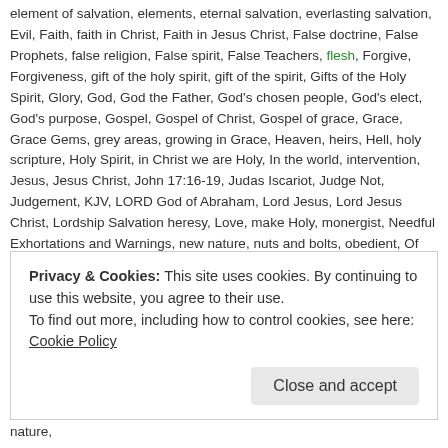element of salvation, elements, eternal salvation, everlasting salvation, Evil, Faith, faith in Christ, Faith in Jesus Christ, False doctrine, False Prophets, false religion, False spirit, False Teachers, flesh, Forgive, Forgiveness, gift of the holy spirit, gift of the spirit, Gifts of the Holy Spirit, Glory, God, God the Father, God's chosen people, God's elect, God's purpose, Gospel, Gospel of Christ, Gospel of grace, Grace, Grace Gems, grey areas, growing in Grace, Heaven, heirs, Hell, holy scripture, Holy Spirit, in Christ we are Holy, In the world, intervention, Jesus, Jesus Christ, John 17:16-19, Judas Iscariot, Judge Not, Judgement, KJV, LORD God of Abraham, Lord Jesus, Lord Jesus Christ, Lordship Salvation heresy, Love, make Holy, monergist, Needful Exhortations and Warnings, new nature, nuts and bolts, obedient, Of the world, One Gospel, Peace, perfectly Holy, process of sanctification, Progressive Sacntification heresy, progressive sanctification, purify, Questions, Reformed, regeneration of the Spirit, Religion, religious hypocrisy, Resurrection, Revelation 11:14, Rome, Saints, Salvation, Sanctification, Sanctification by the Holy Spirit, sanctification by works of man, sanctification is of God, sanctified, sanctifier, sanctifieth, sanctify, Satan, Saving faith, Savior Christ Jesus, Scripture, separate for God's purpose, sermon on the mount, Sermons, set apart, sinful nature,
Privacy & Cookies: This site uses cookies. By continuing to use this website, you agree to their use.
To find out more, including how to control cookies, see here: Cookie Policy